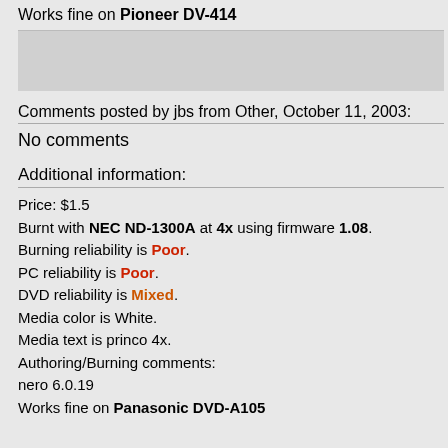copy to dvd
Works fine on Pioneer DV-414
Comments posted by jbs from Other, October 11, 2003:
No comments
Additional information:
Price: $1.5
Burnt with NEC ND-1300A at 4x using firmware 1.08.
Burning reliability is Poor.
PC reliability is Poor.
DVD reliability is Mixed.
Media color is White.
Media text is princo 4x.
Authoring/Burning comments:
nero 6.0.19
Works fine on Panasonic DVD-A105